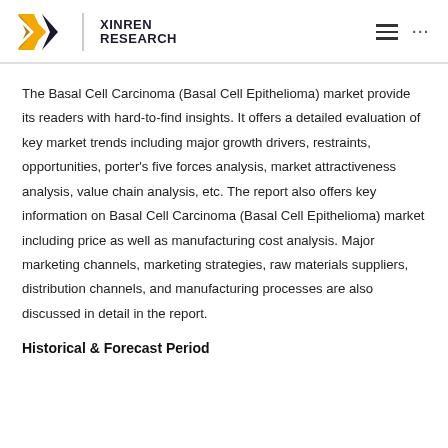XINREN RESEARCH
The Basal Cell Carcinoma (Basal Cell Epithelioma) market provide its readers with hard-to-find insights. It offers a detailed evaluation of key market trends including major growth drivers, restraints, opportunities, porter's five forces analysis, market attractiveness analysis, value chain analysis, etc. The report also offers key information on Basal Cell Carcinoma (Basal Cell Epithelioma) market including price as well as manufacturing cost analysis. Major marketing channels, marketing strategies, raw materials suppliers, distribution channels, and manufacturing processes are also discussed in detail in the report.
Historical & Forecast Period